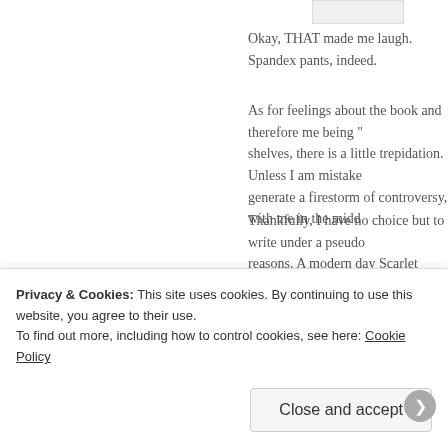[Figure (photo): Small thumbnail image stub at top of page]
Okay, THAT made me laugh. Spandex pants, indeed.
As for feelings about the book and therefore me being “ shelves, there is a little trepidation. Unless I am mistaken, generate a firestorm of controversy, with me in the middle
Thankfully, I have no choice but to write under a pseudonym reasons. A modern day Scarlet Pimpernel.
[Figure (photo): Avatar photo of commenter Abhishek Mazumder]
Abhishek Mazumder
April 3, 2014 at 3:03 pm #
Impressive……….awesome to know u…come and explore me http://inspiration2001.wordpress.com looking forward for yo
Privacy & Cookies: This site uses cookies. By continuing to use this website, you agree to their use.
To find out more, including how to control cookies, see here: Cookie Policy
Close and accept